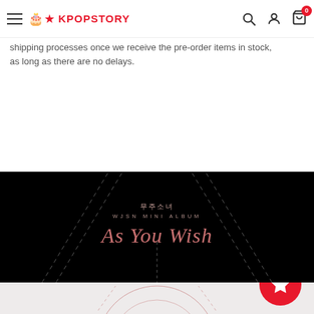KPOP STORY — navigation header with hamburger menu, search, user, and cart icons
shipping processes once we receive the pre-order items in stock, as long as there are no delays.
[Figure (photo): WJSN Mini Album 'As You Wish' (무주소녀) promotional banner on black background with diagonal dashed lines and rose-colored large title text]
[Figure (illustration): Light pink geometric circular diagram on grey-white background, partial view of album artwork lower section]